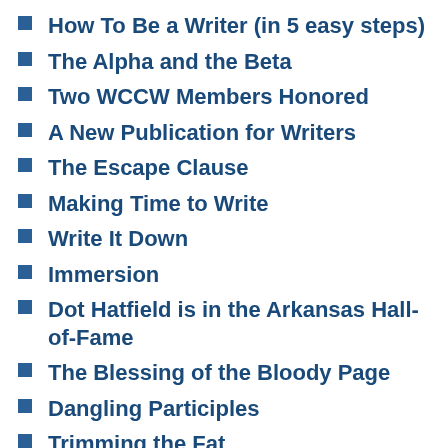How To Be a Writer (in 5 easy steps)
The Alpha and the Beta
Two WCCW Members Honored
A New Publication for Writers
The Escape Clause
Making Time to Write
Write It Down
Immersion
Dot Hatfield is in the Arkansas Hall-of-Fame
The Blessing of the Bloody Page
Dangling Participles
Trimming the Fat
Finding Time To Write
How to Succeed in Writing Contests